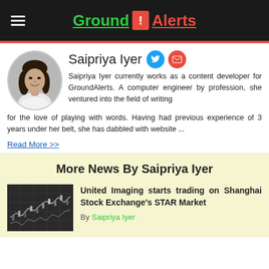Ground ! Alerts
[Figure (photo): Circular black and white portrait photo of Saipriya Iyer, a woman with long wavy dark hair, smiling, wearing a white top]
Saipriya Iyer
Saipriya Iyer currently works as a content developer for GroundAlerts. A computer engineer by profession, she ventured into the field of writing for the love of playing with words. Having had previous experience of 3 years under her belt, she has dabbled with website ...
Read More >>
More News By Saipriya Iyer
[Figure (photo): Black and white photo of stock market trading screens showing charts and graphs]
United Imaging starts trading on Shanghai Stock Exchange's STAR Market
By Saipriya Iyer